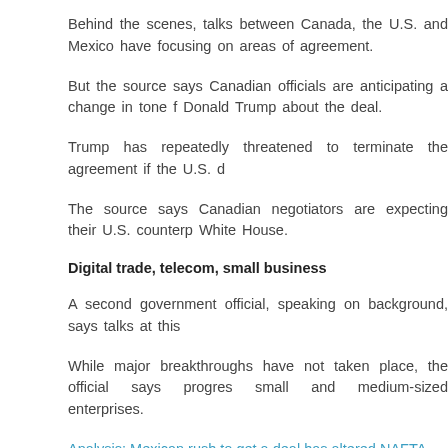Behind the scenes, talks between Canada, the U.S. and Mexico have focusing on areas of agreement.
But the source says Canadian officials are anticipating a change in tone f Donald Trump about the deal.
Trump has repeatedly threatened to terminate the agreement if the U.S. d
The source says Canadian negotiators are expecting their U.S. counterp White House.
Digital trade, telecom, small business
A second government official, speaking on background, says talks at this
While major breakthroughs have not taken place, the official says progres small and medium-sized enterprises.
Analysis: Mexican rush to get a deal has altered NAFTA negotiating strat
Analysis: Trump is the elephant in the room at NAFTA talks
Detailed discussions on the more contentious issues, including trade disp